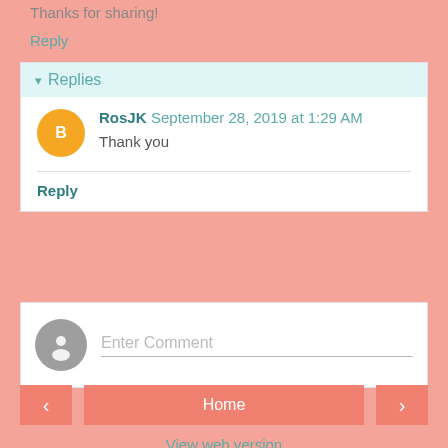Thanks for sharing!
Reply
▼ Replies
RosJK  September 28, 2019 at 1:29 AM
Thank you
Reply
Enter Comment
Home
View web version
Powered by Blogger.